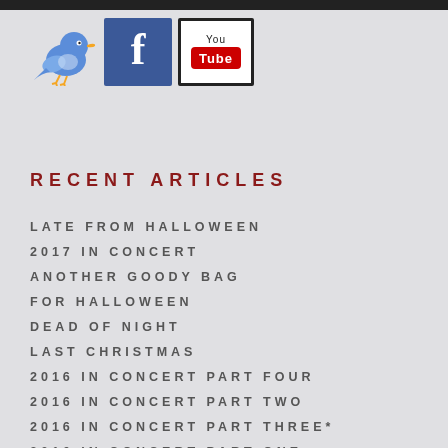[Figure (logo): Twitter bird logo, Facebook logo icon, YouTube logo icon displayed in a row]
RECENT ARTICLES
LATE FROM HALLOWEEN
2017 IN CONCERT
ANOTHER GOODY BAG FOR HALLOWEEN
DEAD OF NIGHT
LAST CHRISTMAS
2016 IN CONCERT PART FOUR
2016 IN CONCERT PART TWO
2016 IN CONCERT PART THREE*
2016 IN CONCERT PART ONE
SATAN'S SLAVE